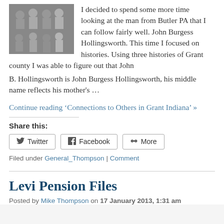[Figure (photo): Black and white group photo of a family, multiple people including men and women]
I decided to spend some more time looking at the man from Butler PA that I can follow fairly well. John Burgess Hollingsworth. This time I focused on histories. Using three histories of Grant county I was able to figure out that John B. Hollingsworth is John Burgess Hollingsworth, his middle name reflects his mother's …
Continue reading 'Connections to Others in Grant Indiana' »
Share this:
Twitter  Facebook  More
Filed under General_Thompson | Comment
Levi Pension Files
Posted by Mike Thompson on 17 January 2013, 1:31 am